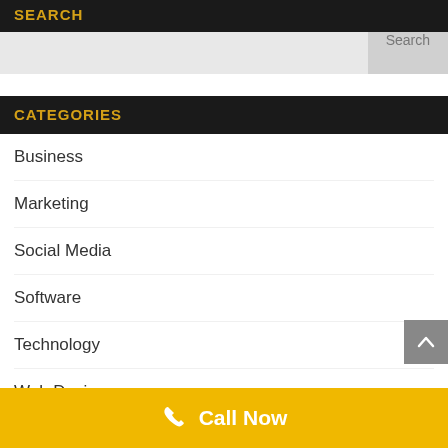SEARCH
Search
CATEGORIES
Business
Marketing
Social Media
Software
Technology
Web Design
Call Now